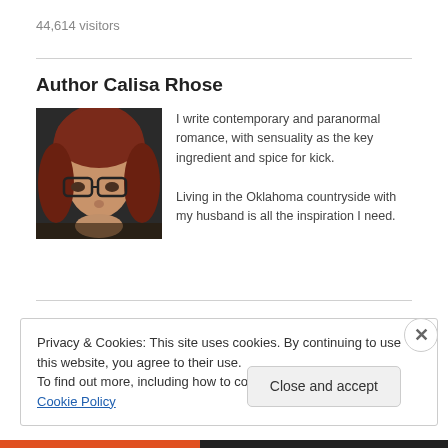44,614 visitors
Author Calisa Rhose
[Figure (photo): Portrait photo of author Calisa Rhose, a woman with red hair and glasses]
I write contemporary and paranormal romance, with sensuality as the key ingredient and spice for kick.
Living in the Oklahoma countryside with my husband is all the inspiration I need.
Privacy & Cookies: This site uses cookies. By continuing to use this website, you agree to their use.
To find out more, including how to control cookies, see here: Cookie Policy
Close and accept